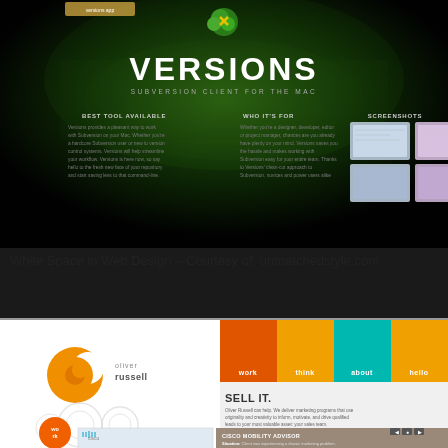[Figure (screenshot): Screenshot of 'Versions' app website – Subversion Client for the Mac, showing dark background with green grass texture, app icon, title 'VERSIONS', subtitle 'SUBVERSION CLIENT FOR THE MAC', three content columns (Best Tool Available, Who It's For, Screenshots), and screenshot thumbnails]
White Space in Web Design – Courtesy of: unmatchedstyle.com
[Figure (screenshot): Screenshot of Oliver Russell agency website showing colorful navigation (orange, teal, orange), Oliver Russell logo, 'SELL IT.' headline, body text about marketing programs, work badge, and Cisco Mobility Advisor case study panel]